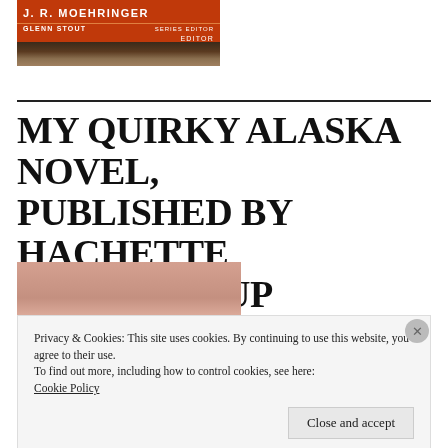[Figure (photo): Book cover showing J. R. Moehringer as editor and Glenn Stout as series editor, with a dark textured background image]
MY QUIRKY ALASKA NOVEL, PUBLISHED BY HACHETTE BOOK GROUP
[Figure (photo): Partial book cover image showing a person's torso in warm peach/tan tones with red text partially visible]
Privacy & Cookies: This site uses cookies. By continuing to use this website, you agree to their use.
To find out more, including how to control cookies, see here:
Cookie Policy
Close and accept